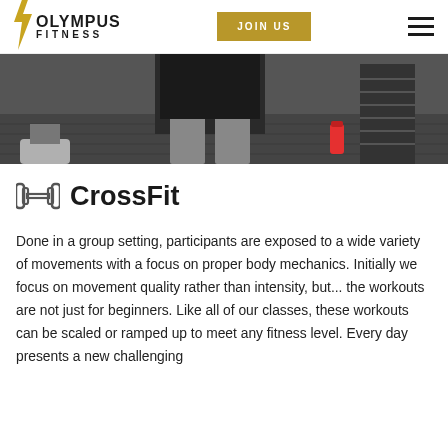OLYMPUS FITNESS | JOIN US
[Figure (photo): Gym floor photo showing a person's lower body in workout shorts and another person in sneakers, with a red water bottle and weight equipment visible]
CrossFit
Done in a group setting, participants are exposed to a wide variety of movements with a focus on proper body mechanics. Initially we focus on movement quality rather than intensity, but... the workouts are not just for beginners. Like all of our classes, these workouts can be scaled or ramped up to meet any fitness level. Every day presents a new challenging